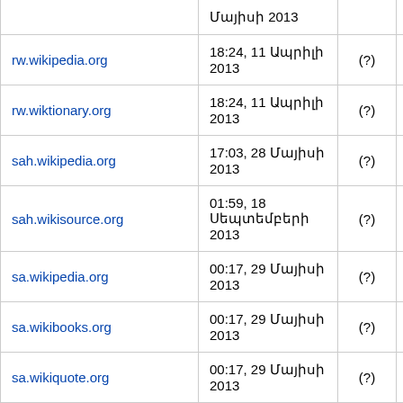|  |  | (?) | — |
| --- | --- | --- | --- |
| Մայիսի 2013 |  |  |  |
| rw.wikipedia.org | 18:24, 11 Ապրիլի 2013 | (?) | — |
| rw.wiktionary.org | 18:24, 11 Ապրիլի 2013 | (?) | — |
| sah.wikipedia.org | 17:03, 28 Մայիսի 2013 | (?) | — |
| sah.wikisource.org | 01:59, 18 Սեպտեմբերի 2013 | (?) | — |
| sa.wikipedia.org | 00:17, 29 Մայիսի 2013 | (?) | — |
| sa.wikibooks.org | 00:17, 29 Մայիսի 2013 | (?) | — |
| sa.wikiquote.org | 00:17, 29 Մայիսի 2013 | (?) | — |